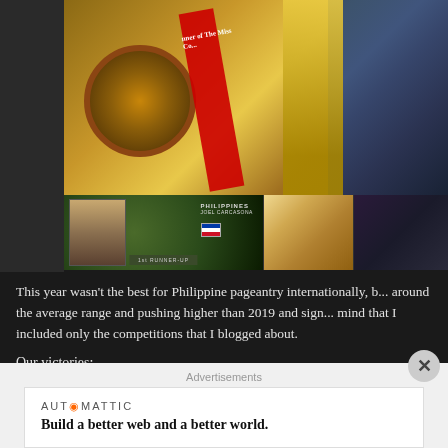[Figure (photo): Collage of pageant photos: a bronze medal on red cushion, woman in gold dress with red sash, another woman in blue dress; bottom row shows Philippines 1st Runner-Up Joel Carcadrm badge/emblem, a woman with gifts on bed, and women in formal gowns.]
This year wasn't the best for Philippine pageantry internationally, b... around the average range and pushing higher than 2019 and sign... mind that I included only the competitions that I blogged about.
Our victories:
Miss Intercontinental – Cindy Obeñita
Advertisements
AUTOMATTIC
Build a better web and a better world.